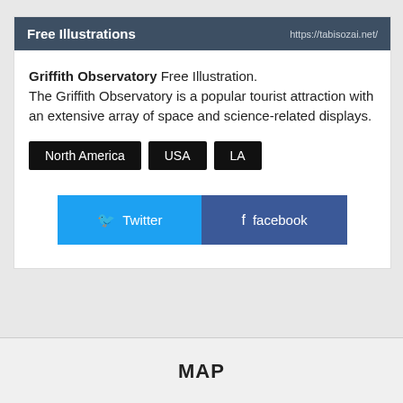Free Illustrations | https://tabisozai.net/
Griffith Observatory Free Illustration. The Griffith Observatory is a popular tourist attraction with an extensive array of space and science-related displays.
North America
USA
LA
Twitter  facebook
MAP